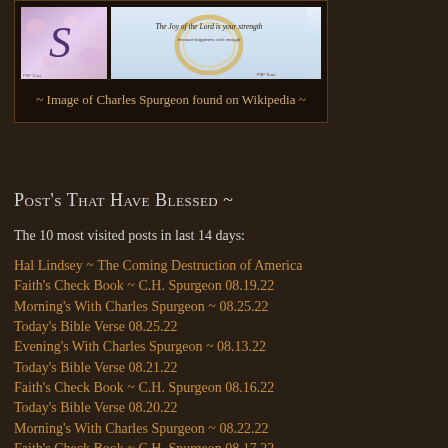[Figure (photo): Two small images side by side: left is a decorative script letter with floral background; right shows a gold ring on blue background with the text 'The Joy of the Lord is your strength']
~ Image of Charles Spurgeon found on Wikipedia ~
Post's That Have Blessed ~
The 10 most visited posts in last 14 days:
Hal Lindsey ~ The Coming Destruction of America
Faith's Check Book ~ C.H. Spurgeon 08.19.22
Morning's With Charles Spurgeon ~ 08.25.22
Today's Bible Verse 08.25.22
Evening's With Charles Spurgeon ~ 08.13.22
Today's Bible Verse 08.21.22
Faith's Check Book ~ C.H. Spurgeon 08.16.22
Today's Bible Verse 08.20.22
Morning's With Charles Spurgeon ~ 08.22.22
Faith's Check Book ~ C.H. Spurgeon 08.17.22